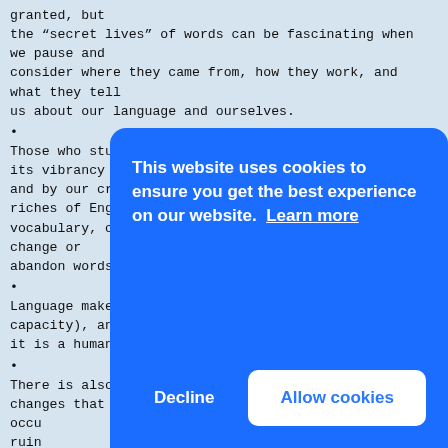granted, but
the “secret lives” of words can be fascinating when we pause and
consider where they came from, how they work, and what they tell
us about our language and ourselves.
Those who study the English language are struck by its vibrancy
and by our creativity with it, as we exploit the riches of English
vocabulary, create new additions to vocabulary, or change or
abandon words that are present in the vocabulary.
Language makes us human (no other species has this capacity), and
it is a human impulse to play with language.
There is also a human impulse to lament some of the changes that
occur… ruin… lang… earl… when… toda…
In t… word… chan… about decay and
2
[Figure (screenshot): Cookie consent banner overlay in blue with text 'This website uses cookies to ensure you get the best experience on our website. Learn more' and two buttons: 'Decline' and 'Allow cookies']